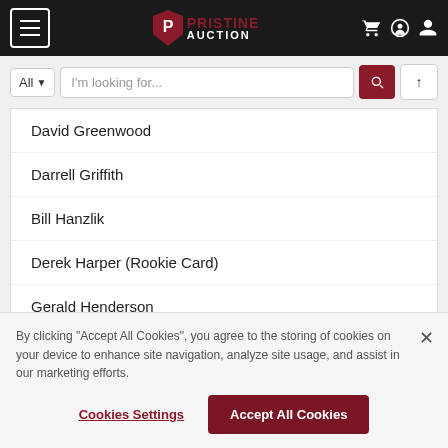[Figure (screenshot): Pristine Auction website header with hamburger menu, logo, and icons]
[Figure (screenshot): Search bar with All dropdown, text input placeholder 'I'm looking for...', search button, and upload button]
David Greenwood
Darrell Griffith
Bill Hanzlik
Derek Harper (Rookie Card)
Gerald Henderson
Roy Hinson
By clicking "Accept All Cookies", you agree to the storing of cookies on your device to enhance site navigation, analyze site usage, and assist in our marketing efforts.
Cookies Settings
Accept All Cookies